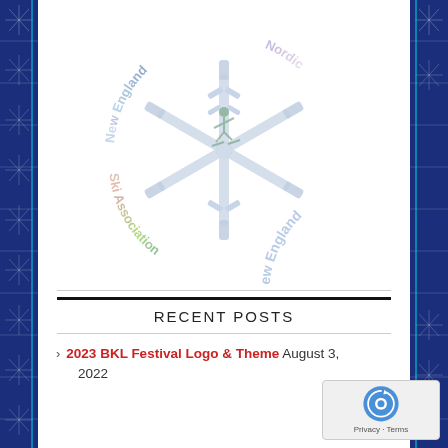[Figure (logo): New England Nordic Ski Association circular logo with snowflake and skier figure, text arranged in arc around the snowflake in multicolor pastel letters]
RECENT POSTS
2023 BKL Festival Logo & Theme  August 3, 2022